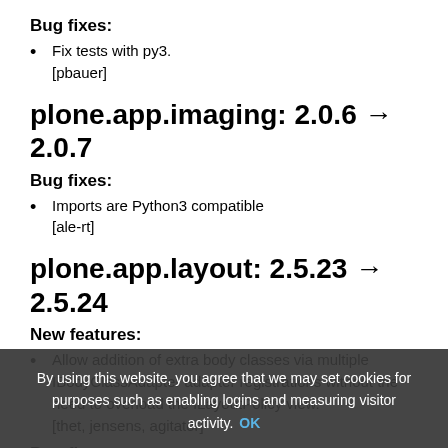Bug fixes:
Fix tests with py3.
[pbauer]
plone.app.imaging: 2.0.6 → 2.0.7
Bug fixes:
Imports are Python3 compatible
[ale-rt]
plone.app.layout: 2.5.23 → 2.5.24
New features:
Allow addition of extra body classes via multiple IBodyClassAdapter adapter registrations without the need to overload the ILayoutPolicy view.
[thet, jensens, agitator]
Bug fixes:
Add template and view arguments support to IBodyClassAdapters [thet]
https://github.com/plone/plone.app...
By using this website, you agree that we may set cookies for purposes such as enabling logins and measuring visitor activity. OK